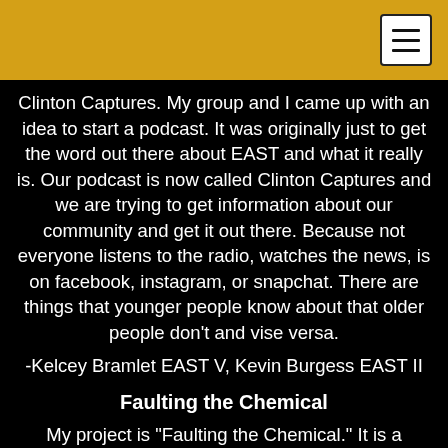Clinton Captures. My group and I came up with an idea to start a podcast. It was originally just to get the word out there about EAST and what it really is. Our podcast is now called Clinton Captures and we are trying to get information about our community and get it out there. Because not everyone listens to the radio, watches the news, is on facebook, instagram, or snapchat. There are things that younger people know about that older people don't and vise versa.
-Kelcey Bramlet EAST V, Kevin Burgess EAST II
Faulting the Chemical
My project is "Faulting the Chemical." It is a mental